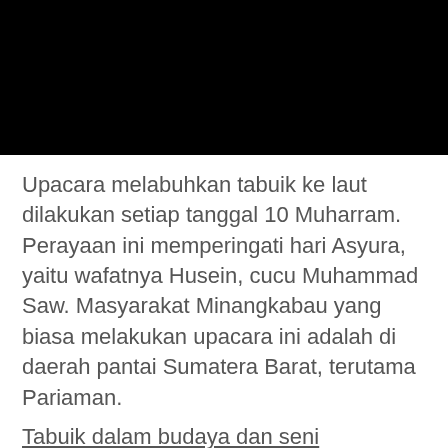[Figure (photo): Black rectangle representing a photo (image content not visible)]
Upacara melabuhkan tabuik ke laut dilakukan setiap tanggal 10 Muharram. Perayaan ini memperingati hari Asyura, yaitu wafatnya Husein, cucu Muhammad Saw. Masyarakat Minangkabau yang biasa melakukan upacara ini adalah di daerah pantai Sumatera Barat, terutama Pariaman.
Tabuik...